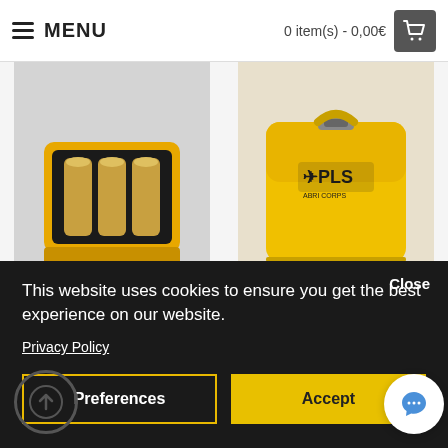MENU | 0 item(s) - 0,00€
[Figure (photo): Fluke PLS BC20 charging cable product image showing open battery compartment with batteries]
Fluke PLS BC20 Charging cable for PLS
51,00€
[Figure (photo): Fluke PLS BP10 Alkaline battery pack yellow rugged case with PLS logo]
Fluke PLS BP10 Alkaline battery pack for PLS H2
100,00€
Close
This website uses cookies to ensure you get the best experience on our website.
Privacy Policy
Preferences
Accept